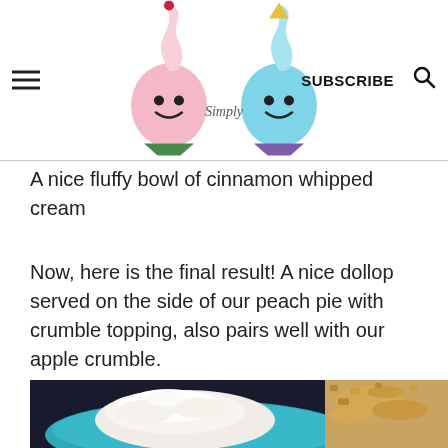Simply (logo with whipped cream characters) | SUBSCRIBE | Search
A nice fluffy bowl of cinnamon whipped cream
Now, here is the final result! A nice dollop served on the side of our peach pie with crumble topping, also pairs well with our apple crumble.
[Figure (photo): A dollop of white cinnamon whipped cream served on a teal/blue plate beside a peach crumble topping, photographed on a dark background.]